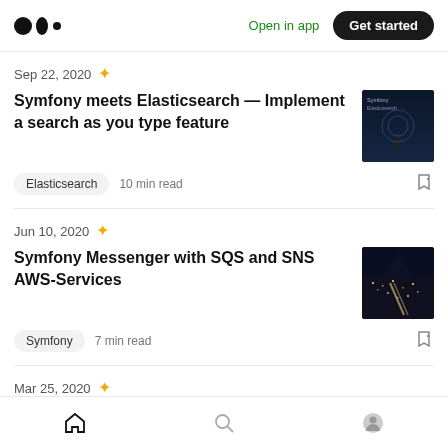Medium logo | Open in app | Get started
Sep 22, 2020
Symfony meets Elasticsearch — Implement a search as you type feature
Elasticsearch  10 min read
Jun 10, 2020
Symfony Messenger with SQS and SNS AWS-Services
Symfony  7 min read
Mar 25, 2020
Home | Search | Profile